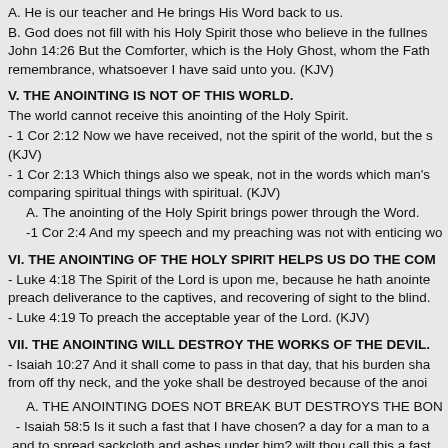A. He is our teacher and He brings His Word back to us.
B. God does not fill with his Holy Spirit those who believe in the fullnes John 14:26 But the Comforter, which is the Holy Ghost, whom the Fath remembrance, whatsoever I have said unto you. (KJV)
V.  THE ANOINTING IS NOT OF THIS WORLD.
The world cannot receive this anointing of the Holy Spirit.
- 1 Cor 2:12 Now we have received, not the spirit of the world, but the s (KJV)
- 1 Cor 2:13 Which things also we speak, not in the words which man's comparing spiritual things with spiritual. (KJV)
A. The anointing of the Holy Spirit brings power through the Word.
-1 Cor 2:4 And my speech and my preaching was not with enticing wo
VI. THE ANOINTING OF THE HOLY SPIRIT HELPS US DO THE CO
- Luke 4:18 The Spirit of the Lord is upon me, because he hath anointe preach deliverance to the captives, and recovering of sight to the blind.
- Luke 4:19 To preach the acceptable year of the Lord. (KJV)
VII. THE ANOINTING WILL DESTROY THE WORKS OF THE DEVIL.
- Isaiah 10:27 And it shall come to pass in that day, that his burden sha from off thy neck, and the yoke shall be destroyed because of the anoi
A. THE ANOINTING DOES NOT BREAK BUT DESTROYS THE BON
- Isaiah 58:5 Is it such a fast that I have chosen? a day for a man to a and to spread sackcloth and ashes under him? wilt thou call this a fast.
-  Isaiah 58:6 Is not this the fast that I have chosen? to loose the band ye break every yoke? (KJV)
- Isaiah 58:7 Is it not to deal thy bread to the hungry, and that thou bri him; and that thou hide not thyself from thine own flesh? (KJV)